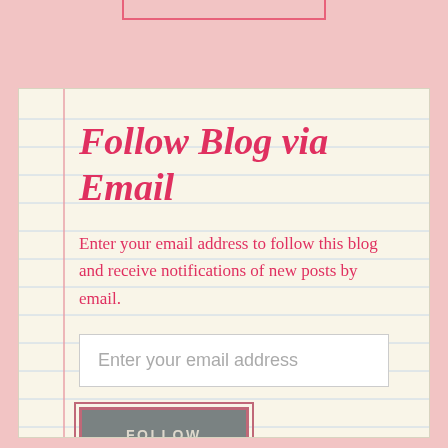Follow Blog via Email
Enter your email address to follow this blog and receive notifications of new posts by email.
[Figure (other): Email input field with placeholder text 'Enter your email address']
[Figure (other): FOLLOW button in gray with pink outline border]